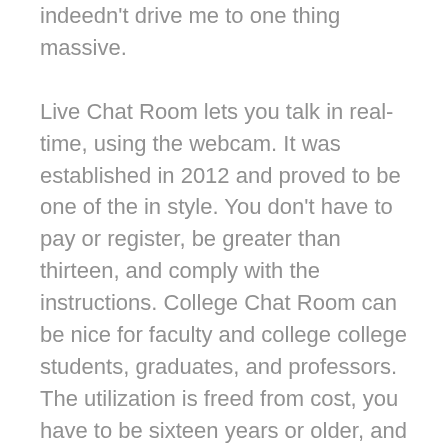indeedn't drive me to one thing massive.
Live Chat Room lets you talk in real-time, using the webcam. It was established in 2012 and proved to be one of the in style. You don't have to pay or register, be greater than thirteen, and comply with the instructions. College Chat Room can be nice for faculty and college college students, graduates, and professors. The utilization is freed from cost, you have to be sixteen years or older, and it's non-compulsory to correspond to the room's matter.